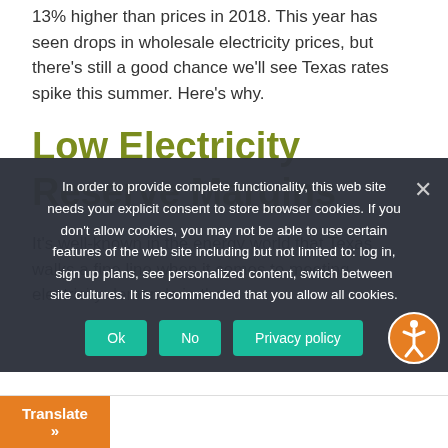13% higher than prices in 2018. This year has seen drops in wholesale electricity prices, but there's still a good chance we'll see Texas rates spike this summer. Here's why.
Low Electricity Reserve Margins
It's well-known in the energy world that Texas walks a fine line when it comes to meeting electricity demands in the
In order to provide complete functionality, this web site needs your explicit consent to store browser cookies. If you don't allow cookies, you may not be able to use certain features of the web site including but not limited to: log in, sign up plans, see personalized content, switch between site cultures. It is recommended that you allow all cookies.